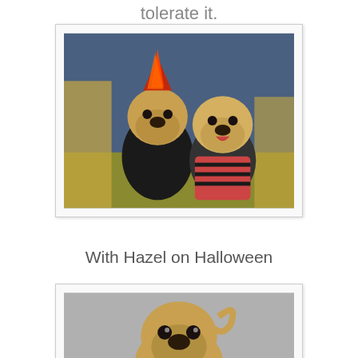tolerate it.
[Figure (photo): Two pugs dressed in Halloween costumes. The pug on the left wears a black jacket with a red feather mohawk headpiece, and the pug on the right wears a striped costume. Hay decorations are in the background.]
With Hazel on Halloween
[Figure (photo): A pug wearing a costume, photographed against a grey background. The pug is looking at the camera with a serious expression.]